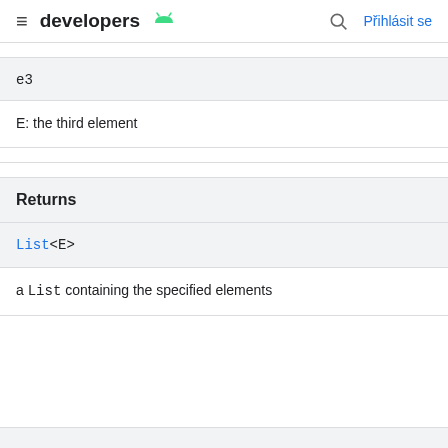≡ developers 🤖  🔍  Přihlásit se
e3
E: the third element
Returns
List<E>
a List containing the specified elements